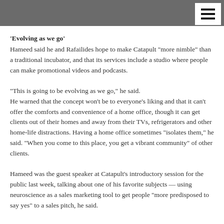'Evolving as we go'
Hameed said he and Rafailides hope to make Catapult "more nimble" than a traditional incubator, and that its services include a studio where people can make promotional videos and podcasts.
"This is going to be evolving as we go," he said.
He warned that the concept won't be to everyone's liking and that it can't offer the comforts and convenience of a home office, though it can get clients out of their homes and away from their TVs, refrigerators and other home-life distractions. Having a home office sometimes "isolates them," he said. "When you come to this place, you get a vibrant community" of other clients.
Hameed was the guest speaker at Catapult's introductory session for the public last week, talking about one of his favorite subjects — using neuroscience as a sales marketing tool to get people "more predisposed to say yes" to a sales pitch, he said.